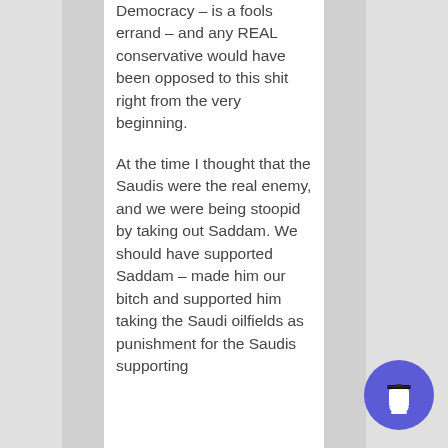Democracy – is a fools errand – and any REAL conservative would have been opposed to this shit right from the very beginning.

At the time I thought that the Saudis were the real enemy, and we were being stoopid by taking out Saddam. We should have supported Saddam – made him our bitch and supported him taking the Saudi oilfields as punishment for the Saudis supporting